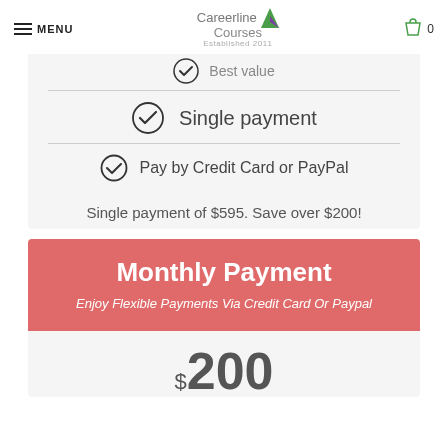MENU | Careerline Courses Established 2011 | Cart 0
Best value
Single payment
Pay by Credit Card or PayPal
Single payment of $595. Save over $200!
Monthly Payment
Enjoy Flexible Payments Via Credit Card Or Paypal
$200